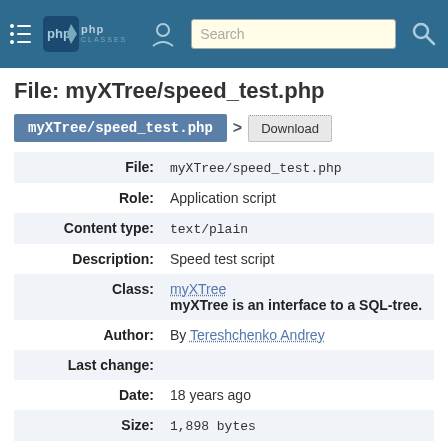PHP Classes — Search
File: myXTree/speed_test.php
myXTree/speed_test.php > Download
| Field | Value |
| --- | --- |
| File: | myXTree/speed_test.php |
| Role: | Application script |
| Content type: | text/plain |
| Description: | Speed test script |
| Class: | myXTree
myXTree is an interface to a SQL-tree. |
| Author: | By Tereshchenko Andrey |
| Last change: |  |
| Date: | 18 years ago |
| Size: | 1,898 bytes |
Contents